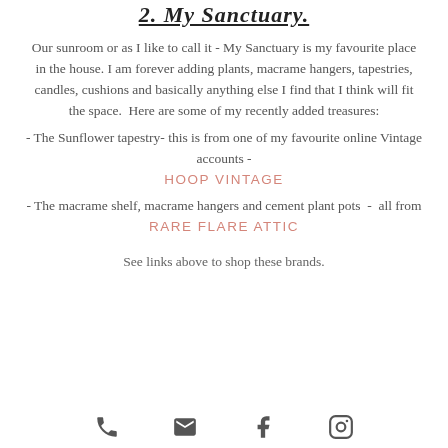2. My Sanctuary.
Our sunroom or as I like to call it - My Sanctuary is my favourite place in the house. I am forever adding plants, macrame hangers, tapestries, candles, cushions and basically anything else I find that I think will fit the space. Here are some of my recently added treasures:
- The Sunflower tapestry- this is from one of my favourite online Vintage accounts - HOOP VINTAGE
- The macrame shelf, macrame hangers and cement plant pots - all from RARE FLARE ATTIC
See links above to shop these brands.
[Figure (illustration): Four social media/contact icons: phone, email, Facebook, Instagram]